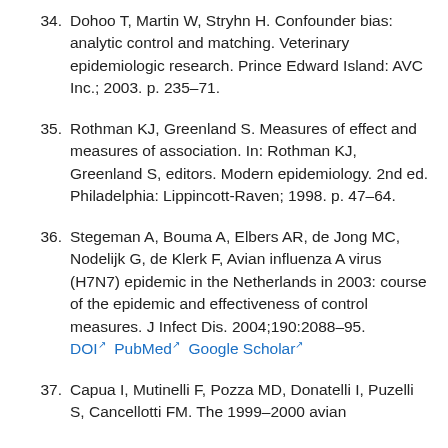34. Dohoo T, Martin W, Stryhn H. Confounder bias: analytic control and matching. Veterinary epidemiologic research. Prince Edward Island: AVC Inc.; 2003. p. 235–71.
35. Rothman KJ, Greenland S. Measures of effect and measures of association. In: Rothman KJ, Greenland S, editors. Modern epidemiology. 2nd ed. Philadelphia: Lippincott-Raven; 1998. p. 47–64.
36. Stegeman A, Bouma A, Elbers AR, de Jong MC, Nodelijk G, de Klerk F, Avian influenza A virus (H7N7) epidemic in the Netherlands in 2003: course of the epidemic and effectiveness of control measures. J Infect Dis. 2004;190:2088–95. DOI PubMed Google Scholar
37. Capua I, Mutinelli F, Pozza MD, Donatelli I, Puzelli S, Cancellotti FM. The 1999–2000 avian